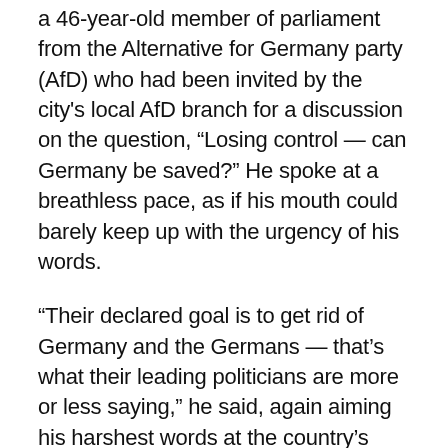a 46-year-old member of parliament from the Alternative for Germany party (AfD) who had been invited by the city's local AfD branch for a discussion on the question, "Losing control — can Germany be saved?" He spoke at a breathless pace, as if his mouth could barely keep up with the urgency of his words.
“Their declared goal is to get rid of Germany and the Germans — that’s what their leading politicians are more or less saying,” he said, again aiming his harshest words at the country’s left-wing parties.
Bernhard spoke before an audience of around 150 people, a majority of them men and nearly all over 50, gathered inside a run-down meeting space on